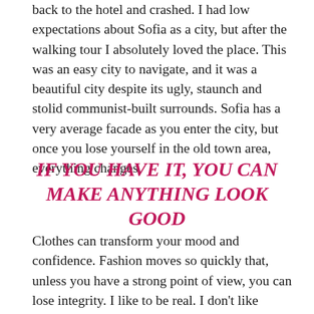back to the hotel and crashed. I had low expectations about Sofia as a city, but after the walking tour I absolutely loved the place. This was an easy city to navigate, and it was a beautiful city despite its ugly, staunch and stolid communist-built surrounds. Sofia has a very average facade as you enter the city, but once you lose yourself in the old town area, everything changes.
IF YOU HAVE IT, YOU CAN MAKE ANYTHING LOOK GOOD
Clothes can transform your mood and confidence. Fashion moves so quickly that, unless you have a strong point of view, you can lose integrity. I like to be real. I don't like things to be staged or fussy. I think I'd go mad if I didn't have a place to escape to. You have to stay true to your heritage, that's what your brand is about.